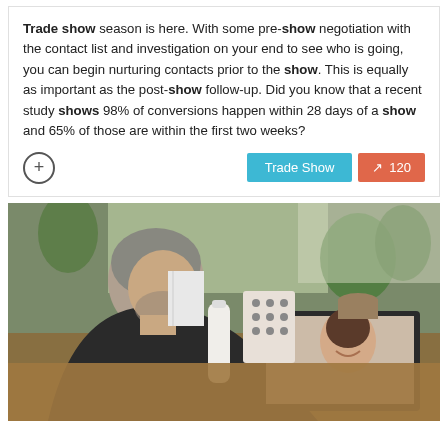Trade show season is here. With some pre-show negotiation with the contact list and investigation on your end to see who is going, you can begin nurturing contacts prior to the show. This is equally as important as the post-show follow-up. Did you know that a recent study shows 98% of conversions happen within 28 days of a show and 65% of those are within the first two weeks?
[Figure (photo): A man sitting at a desk viewed from behind/side, working on a laptop that shows a video call with a woman. On the desk are a white water bottle, a polka-dot box/organizer, and potted plants in the background near a window.]